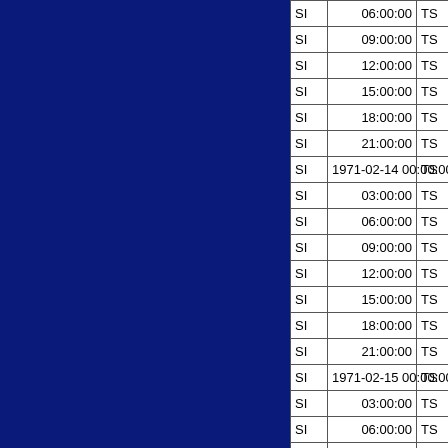|  |  |  |  |
| --- | --- | --- | --- |
| SI | 06:00:00 | TS | -19.3 |
| SI | 09:00:00 | TS | -19.7 |
| SI | 12:00:00 | TS | -20.1 |
| SI | 15:00:00 | TS | -20.5 |
| SI | 18:00:00 | TS | -20.9 |
| SI | 21:00:00 | TS | -21.3 |
| SI | 1971-02-14 00:00:00 | TS | -21.6 |
| SI | 03:00:00 | TS | -22.0 |
| SI | 06:00:00 | TS | -22.4 |
| SI | 09:00:00 | TS | -22.8 |
| SI | 12:00:00 | TS | -23.1 |
| SI | 15:00:00 | TS | -23.5 |
| SI | 18:00:00 | TS | -23.9 |
| SI | 21:00:00 | TS | -24.3 |
| SI | 1971-02-15 00:00:00 | TS | -24.8 |
| SI | 03:00:00 | TS | -25.1 |
| SI | 06:00:00 | TS | -25.5 |
| SI | 09:00:00 | TS | -25.7 |
| SI | 12:00:00 | TS | -26.0 |
| SI | 15:00:00 | TS | -26.2 |